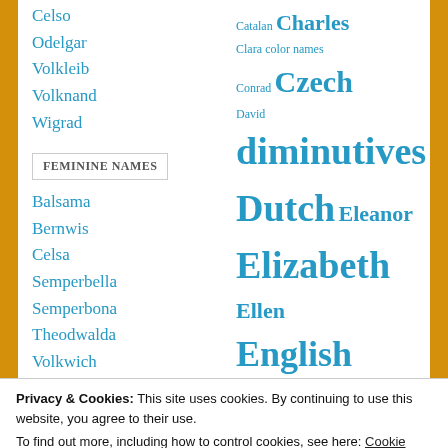Celso
Odelgar
Volkleib
Volknand
Wigrad
FEMININE NAMES
Balsama
Bernwis
Celsa
Semperbella
Semperbona
Theodwalda
Volkwich
Catalan Charles Clara color names Conrad Czech David diminutives Dutch Eleanor Elizabeth Ellen English Estonian Ferdinand Francis Frederick French Gavin German Greek Hebrew Henry Hugh Hungarian Irish Isabel Italian Jacob
Privacy & Cookies: This site uses cookies. By continuing to use this website, you agree to their use. To find out more, including how to control cookies, see here: Cookie Policy
Close and accept
Semperbona "always good" definitely win
Mathilda Matthew